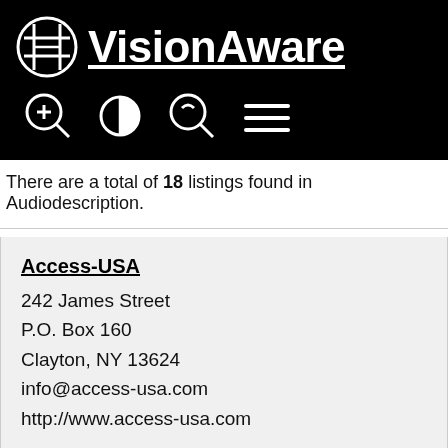APH VisionAware
There are a total of 18 listings found in Audiodescription.
Access-USA
242 James Street
P.O. Box 160
Clayton, NY 13624
info@access-usa.com
http://www.access-usa.com
Accessible Media Inc.